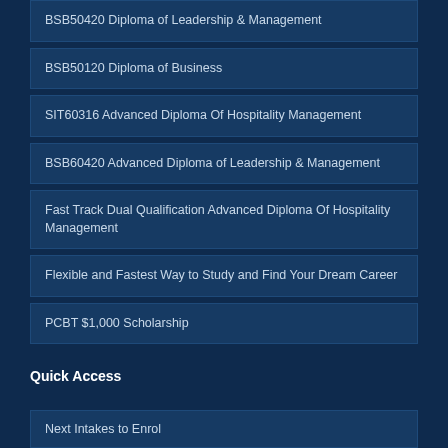BSB50420 Diploma of Leadership & Management
BSB50120 Diploma of Business
SIT60316 Advanced Diploma Of Hospitality Management
BSB60420 Advanced Diploma of Leadership & Management
Fast Track Dual Qualification Advanced Diploma Of Hospitality Management
Flexible and Fastest Way to Study and Find Your Dream Career
PCBT $1,000 Scholarship
Quick Access
Next Intakes to Enrol